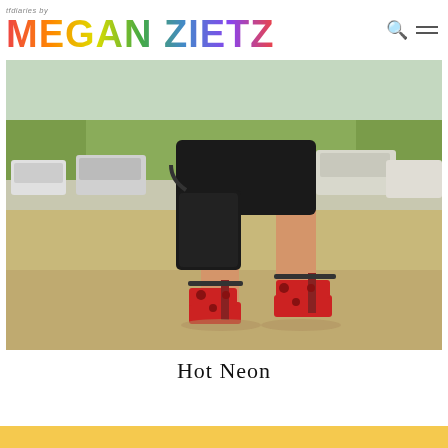tfdiaries by MEGAN ZIETZ
[Figure (photo): Fashion blog photo showing the lower body of a woman wearing a short black skirt and red patterned platform heels, carrying a black handbag, standing on a sandy street with cars and trees in the background.]
Hot Neon